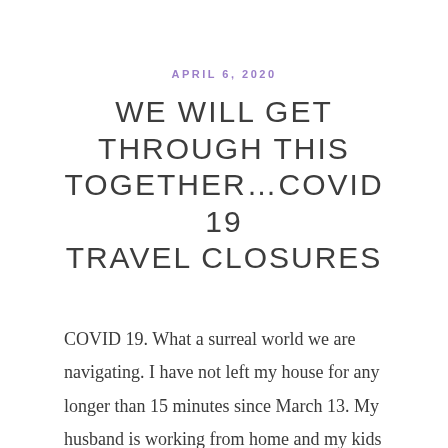APRIL 6, 2020
WE WILL GET THROUGH THIS TOGETHER…COVID 19 TRAVEL CLOSURES
COVID 19. What a surreal world we are navigating. I have not left my house for any longer than 15 minutes since March 13. My husband is working from home and my kids are navigating the